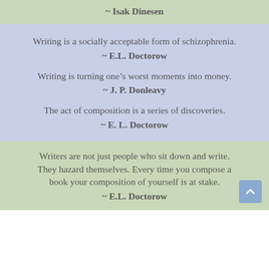~ Isak Dinesen
Writing is a socially acceptable form of schizophrenia.
~ E.L. Doctorow
Writing is turning one's worst moments into money.
~ J. P. Donleavy
The act of composition is a series of discoveries.
~ E. L. Doctorow
Writers are not just people who sit down and write. They hazard themselves. Every time you compose a book your composition of yourself is at stake.
~ E.L. Doctorow